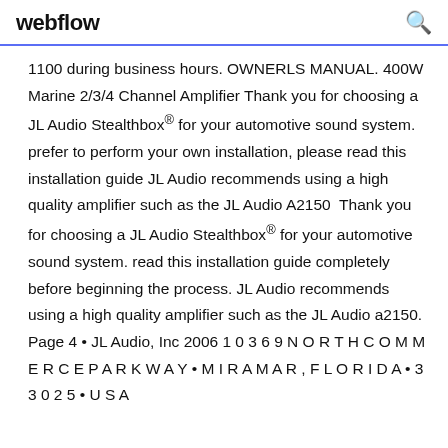webflow
1100 during business hours. OWNERLS MANUAL. 400W Marine 2/3/4 Channel Amplifier Thank you for choosing a JL Audio Stealthbox® for your automotive sound system. prefer to perform your own installation, please read this installation guide JL Audio recommends using a high quality amplifier such as the JL Audio A2150  Thank you for choosing a JL Audio Stealthbox® for your automotive sound system. read this installation guide completely before beginning the process. JL Audio recommends using a high quality amplifier such as the JL Audio a2150. Page 4 • JL Audio, Inc 2006 1 0 3 6 9 N O R T H C O M M E R C E P A R K W A Y • M I R A M A R , F L O R I D A • 3 3 0 2 5 • U S A